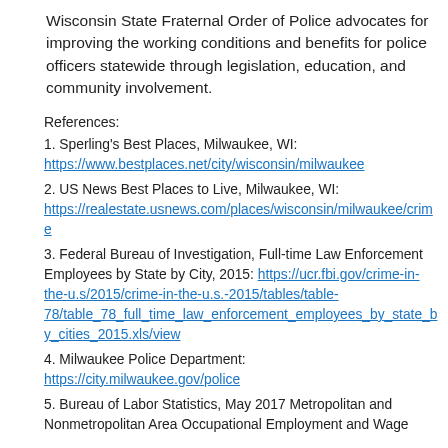Wisconsin State Fraternal Order of Police advocates for improving the working conditions and benefits for police officers statewide through legislation, education, and community involvement.
References:
1. Sperling's Best Places, Milwaukee, WI: https://www.bestplaces.net/city/wisconsin/milwaukee
2. US News Best Places to Live, Milwaukee, WI: https://realestate.usnews.com/places/wisconsin/milwaukee/crime
3. Federal Bureau of Investigation, Full-time Law Enforcement Employees by State by City, 2015: https://ucr.fbi.gov/crime-in-the-u.s/2015/crime-in-the-u.s.-2015/tables/table-78/table_78_full_time_law_enforcement_employees_by_state_by_cities_2015.xls/view
4. Milwaukee Police Department: https://city.milwaukee.gov/police
5. Bureau of Labor Statistics, May 2017 Metropolitan and Nonmetropolitan Area Occupational Employment and Wage